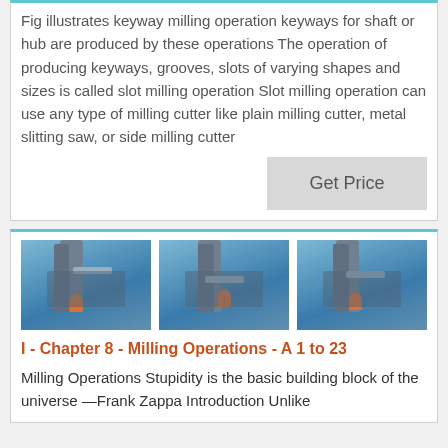Fig illustrates keyway milling operation keyways for shaft or hub are produced by these operations The operation of producing keyways, grooves, slots of varying shapes and sizes is called slot milling operation Slot milling operation can use any type of milling cutter like plain milling cutter, metal slitting saw, or side milling cutter
[Figure (photo): Get Price button]
[Figure (photo): Three industrial milling equipment photos side by side showing large industrial machinery with blue structures and pipes against a sky background]
I - Chapter 8 - Milling Operations - A 1 to 23
Milling Operations Stupidity is the basic building block of the universe —Frank Zappa Introduction Unlike